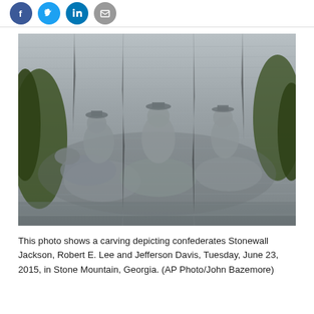[Figure (other): Social media share icons: Facebook (blue circle), Twitter (blue circle), LinkedIn (blue circle), and email/print (gray circle)]
[Figure (photo): A photograph of the Stone Mountain carving depicting Confederate figures Stonewall Jackson, Robert E. Lee and Jefferson Davis on horseback, carved into the granite face of Stone Mountain, Georgia. Photo taken Tuesday, June 23, 2015. Trees are visible in the foreground corners.]
This photo shows a carving depicting confederates Stonewall Jackson, Robert E. Lee and Jefferson Davis, Tuesday, June 23, 2015, in Stone Mountain, Georgia. (AP Photo/John Bazemore)